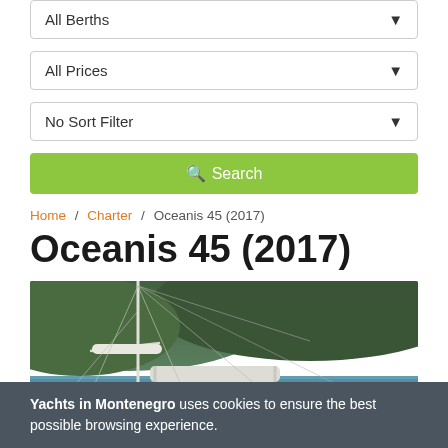All Berths
All Prices
No Sort Filter
Search
Home / Charter / Oceanis 45 (2017)
Oceanis 45 (2017)
[Figure (photo): Sailing yacht Oceanis 45 (2017) photographed from behind, showing the cockpit, bimini, mast and rigging, with green forested hills and calm blue water in the background. Two people are visible in the cockpit area.]
Yachts in Montenegro uses cookies to ensure the best possible browsing experience.